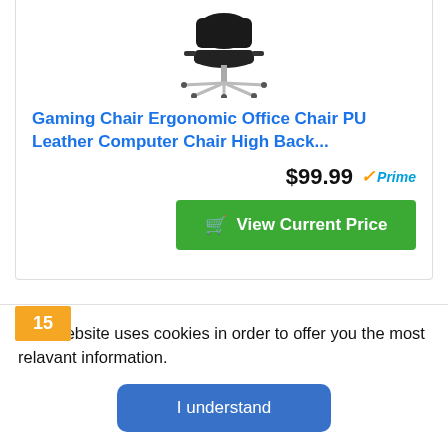[Figure (photo): Black gaming/office chair with chrome base, viewed from a slight angle above]
Gaming Chair Ergonomic Office Chair PU Leather Computer Chair High Back...
$99.99 ✓Prime
View Current Price
15
[Figure (photo): Black office chair, partially visible at bottom of card]
This website uses cookies in order to offer you the most relavant information.
I understand